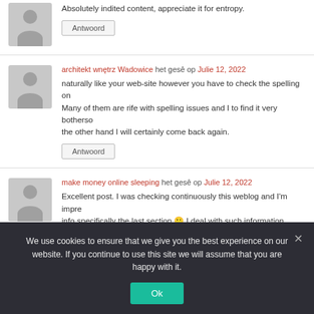Absolutely indited content, appreciate it for entropy.
Antwoord
architekt wnętrz Wadowice het gesê op Julie 12, 2022
naturally like your web-site however you have to check the spelling on Many of them are rife with spelling issues and I to find it very bothersome the other hand I will certainly come back again.
Antwoord
make money online sleeping het gesê op Julie 12, 2022
Excellent post. I was checking continuously this weblog and I'm impre info specifically the last section 🙂 I deal with such information much. I
We use cookies to ensure that we give you the best experience on our website. If you continue to use this site we will assume that you are happy with it.
Ok